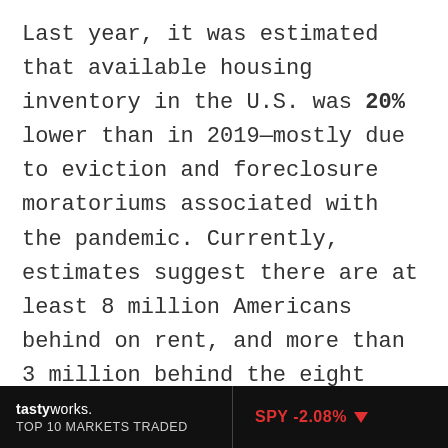Last year, it was estimated that available housing inventory in the U.S. was 20% lower than in 2019—mostly due to eviction and foreclosure moratoriums associated with the pandemic. Currently, estimates suggest there are at least 8 million Americans behind on rent, and more than 3 million behind the eight ball on their mortgages.
The unique challenges presented by the pandemic have essentially created an inventory crisis, with fresh reports suggesting that available housing stock is even more limited this
tastyworks. TOP 10 MARKETS TRADED | SPY -2.08% ▼